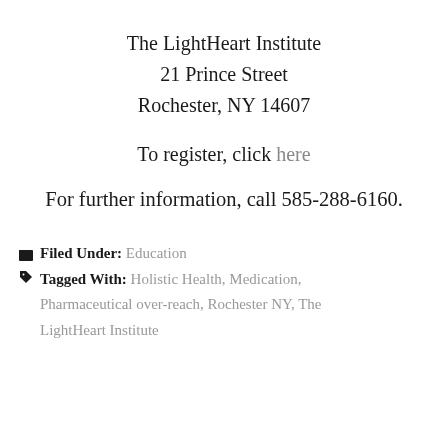The LightHeart Institute
21 Prince Street
Rochester, NY 14607
To register, click here
For further information, call 585-288-6160.
Filed Under: Education
Tagged With: Holistic Health, Medication, Pharmaceutical over-reach, Rochester NY, The LightHeart Institute